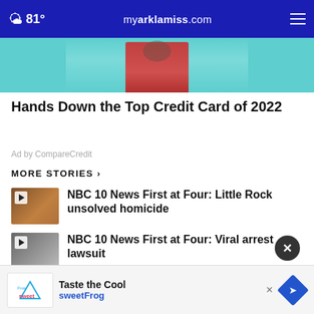81° myarklamiss.com
[Figure (photo): Partial photo of a person in a red sweater with teal/cyan background, used as advertisement image for CompareCredit]
Hands Down the Top Credit Card of 2022
Ad by CompareCredit
MORE STORIES ›
[Figure (photo): Video thumbnail showing a scene with play button icon]
NBC 10 News First at Four: Little Rock unsolved homicide
[Figure (photo): Video thumbnail showing a scene with play button icon]
NBC 10 News First at Four: Viral arrest lawsuit
[Figure (photo): Video thumbnail showing a scene with play button icon]
Over 1,200 signatures collected to
Taste the Cool sweetFrog
Astronaut borards NASA lunar probe